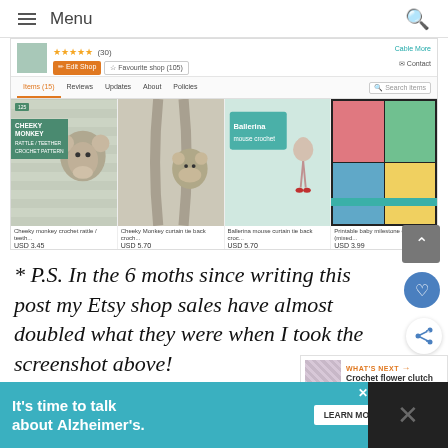Menu
[Figure (screenshot): Screenshot of an Etsy shop page showing shop header with green thumbnail, star ratings, Edit shop and Favourite shop buttons, navigation tabs (Items, Reviews, Updates, About, Policies, Search items), and a product grid with 4 items: Cheeky monkey crochet rattle/teether (USD 3.45), Cheeky Monkey curtain tie back crochet (USD 5.70), Ballerina mouse curtain tie back crochet (USD 5.70), Printable baby milestone cards (USD 3.99)]
* P.S. In the 6 moths since writing this post my Etsy shop sales have almost doubled what they were when I took the screenshot above!
WHAT'S NEXT → Crochet flower clutch bag |...
[Figure (photo): Partial photo showing a person's head from above, with blue/striped background]
It's time to talk about Alzheimer's.
LEARN MORE